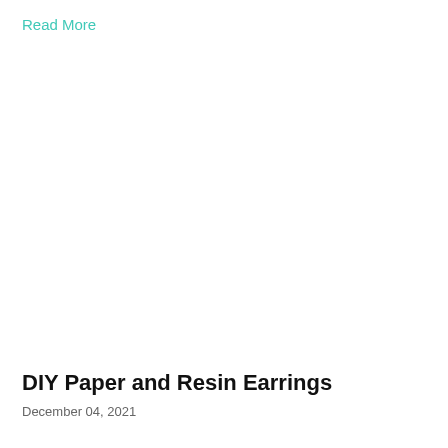Read More
DIY Paper and Resin Earrings
December 04, 2021